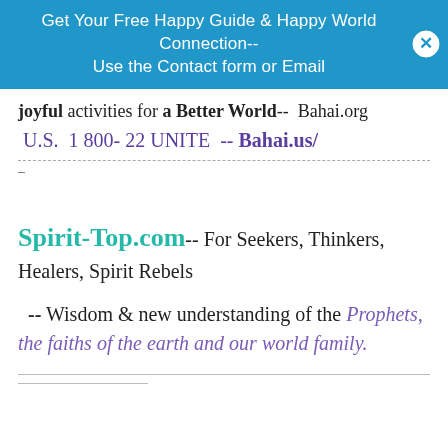Get Your Free Happy Guide & Happy World Connection-- Use the Contact form or Email
joyful activities for a Better World--  Bahai.org
U.S.  1 800- 22 UNITE  -- Bahai.us/
-
Spirit-Top.com-- For Seekers, Thinkers, Healers, Spirit Rebels
-- Wisdom & new understanding of the Prophets, the faiths of the earth and our world family.